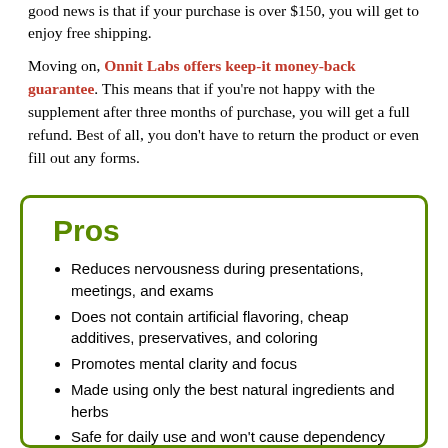good news is that if your purchase is over $150, you will get to enjoy free shipping.
Moving on, Onnit Labs offers keep-it money-back guarantee. This means that if you're not happy with the supplement after three months of purchase, you will get a full refund. Best of all, you don't have to return the product or even fill out any forms.
Pros
Reduces nervousness during presentations, meetings, and exams
Does not contain artificial flavoring, cheap additives, preservatives, and coloring
Promotes mental clarity and focus
Made using only the best natural ingredients and herbs
Safe for daily use and won't cause dependency
Offers deep support by calming your